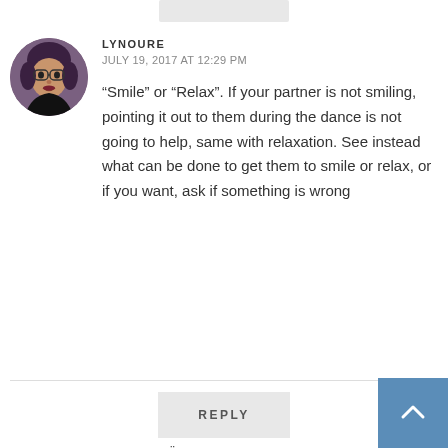[Figure (screenshot): Website comment section screenshot showing two comments and a reply button]
LYNOURE
JULY 19, 2017 AT 12:29 PM
“Smile” or “Relax”. If your partner is not smiling, pointing it out to them during the dance is not going to help, same with relaxation. See instead what can be done to get them to smile or relax, or if you want, ask if something is wrong
REPLY
JUKKA VÄLIMAA
JULY 19, 2017 AT 2:48 PM
Actually, pointing out that “You look so serious” in a friendly way has helped to smile, when I’ve not been smiling. to overfocus.